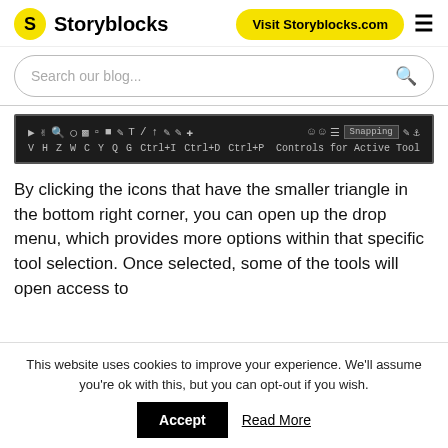Storyblocks | Visit Storyblocks.com
Search our blog...
[Figure (screenshot): Storyblocks toolbar showing editing tool icons and keyboard shortcuts including V H Z W C Y Q G Ctrl+I Ctrl+D Ctrl+P Controls for Active Tool, with a Snapping button]
By clicking the icons that have the smaller triangle in the bottom right corner, you can open up the drop menu, which provides more options within that specific tool selection. Once selected, some of the tools will open access to
This website uses cookies to improve your experience. We'll assume you're ok with this, but you can opt-out if you wish. Accept  Read More